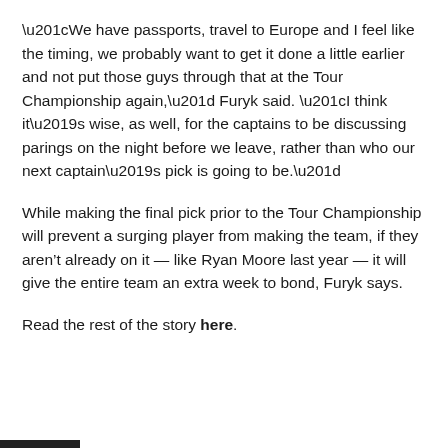“We have passports, travel to Europe and I feel like the timing, we probably want to get it done a little earlier and not put those guys through that at the Tour Championship again,” Furyk said. “I think it’s wise, as well, for the captains to be discussing parings on the night before we leave, rather than who our next captain’s pick is going to be.”
While making the final pick prior to the Tour Championship will prevent a surging player from making the team, if they aren’t already on it — like Ryan Moore last year — it will give the entire team an extra week to bond, Furyk says.
Read the rest of the story here.